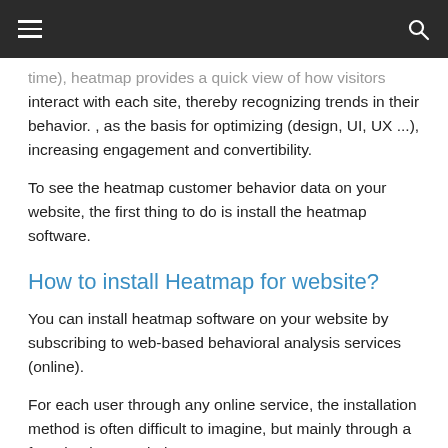≡  [navigation bar]  🔍
time), heatmap provides a quick view of how visitors interact with each site, thereby recognizing trends in their behavior. , as the basis for optimizing (design, UI, UX ...), increasing engagement and convertibility.
To see the heatmap customer behavior data on your website, the first thing to do is install the heatmap software.
How to install Heatmap for website?
You can install heatmap software on your website by subscribing to web-based behavioral analysis services (online).
For each user through any online service, the installation method is often difficult to imagine, but mainly through a few simple steps below: